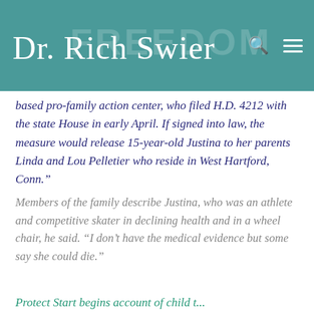Dr. Rich Swier
based pro-family action center, who filed H.D. 4212 with the state House in early April. If signed into law, the measure would release 15-year-old Justina to her parents Linda and Lou Pelletier who reside in West Hartford, Conn.”
Members of the family describe Justina, who was an athlete and competitive skater in declining health and in a wheel chair, he said. “I don’t have the medical evidence but some say she could die.”
Protect Start begins account of child t...